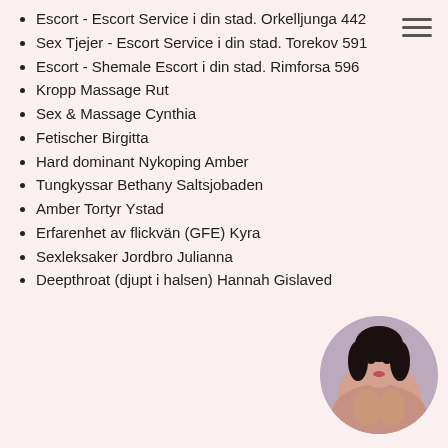Escort - Escort Service i din stad. Orkelljunga 442
Sex Tjejer - Escort Service i din stad. Torekov 591
Escort - Shemale Escort i din stad. Rimforsa 596
Kropp Massage Rut
Sex & Massage Cynthia
Fetischer Birgitta
Hard dominant Nykoping Amber
Tungkyssar Bethany Saltsjobaden
Amber Tortyr Ystad
Erfarenhet av flickvän (GFE) Kyra
Sexleksaker Jordbro Julianna
Deepthroat (djupt i halsen) Hannah Gislaved
[Figure (photo): Circular cropped photo of a woman in the bottom-right corner]